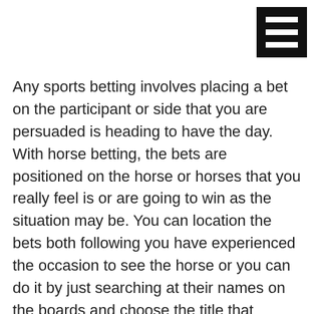[Figure (other): Hamburger menu icon: black square with three white horizontal bars]
Any sports betting involves placing a bet on the participant or side that you are persuaded is heading to have the day. With horse betting, the bets are positioned on the horse or horses that you really feel is or are going to win as the situation may be. You can location the bets both following you have experienced the occasion to see the horse or you can do it by just searching at their names on the boards and choose the title that attracts you. The latter is called pre-betting.
There are methods to bet on sports in the US, some are legal, some are illegal and some are ambiguous. Usually, it is legal to bet at Sports Publications and illegal to bet with bookies. With the on-line betting craze catching on, offshore sports books are flooding the market. The trustworthiness of some of these solutions can be dicey as quite a couple of of them have proved to be fly-by-night operators. Largely, you can bet on any sport and that consists of expert